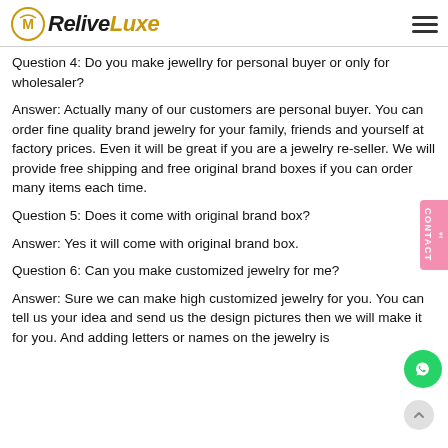ReliveLuxe
Question 4: Do you make jewellry for personal buyer or only for wholesaler?
Answer: Actually many of our customers are personal buyer. You can order fine quality brand jewelry for your family, friends and yourself at factory prices. Even it will be great if you are a jewelry re-seller. We will provide free shipping and free original brand boxes if you can order many items each time.
Question 5: Does it come with original brand box?
Answer: Yes it will come with original brand box.
Question 6: Can you make customized jewelry for me?
Answer: Sure we can make high customized jewelry for you. You can tell us your idea and send us the design pictures then we will make it for you. And adding letters or names on the jewelry is